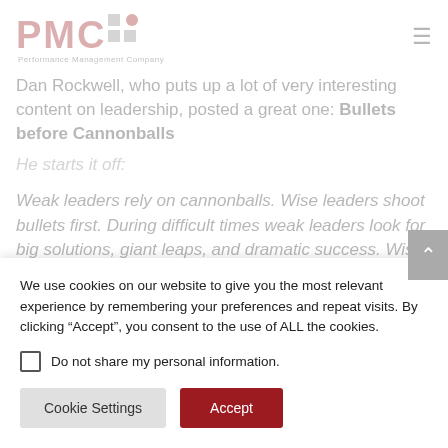[Figure (logo): PMC Performance Management Company logo with red text and gray/red dot grid]
Dan Rockwell, who puts up a lot of very interesting content on leadership, posted a great one: Bullets before Cannonballs
He starts it off:
Weak leaders rely on cannonballs. Wise leaders shoot bullets first. During difficult times weak leaders look for big solutions, giant leaps, and dramatic success. Wise leaders take small steps
We use cookies on our website to give you the most relevant experience by remembering your preferences and repeat visits. By clicking “Accept”, you consent to the use of ALL the cookies.
Do not share my personal information.